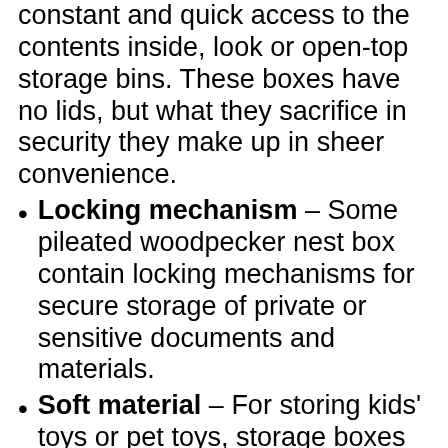constant and quick access to the contents inside, look or open-top storage bins. These boxes have no lids, but what they sacrifice in security they make up in sheer convenience.
Locking mechanism – Some pileated woodpecker nest box contain locking mechanisms for secure storage of private or sensitive documents and materials.
Soft material – For storing kids' toys or pet toys, storage boxes made from fabric and other soft materials have no hard or sharp edges.
Airtight lid – Airtight options are great for keeping contents from oxidizing, from old documents or belongings to perishables like snacks for the office